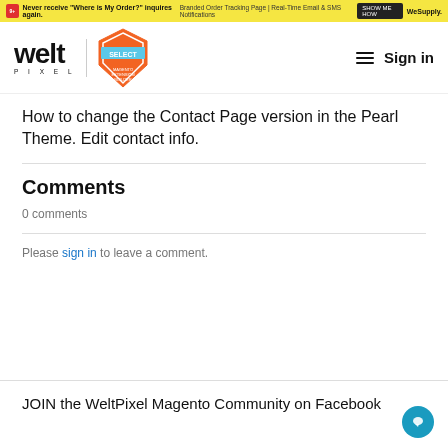Never receive "Where is My Order?" inquires again. Branded Order Tracking Page | Real-Time Email & SMS Notifications SHOW ME HOW WeSupply.
[Figure (logo): WeltPixel logo and Magento Select Extension Builder badge with Sign in navigation]
How to change the Contact Page version in the Pearl Theme. Edit contact info.
Comments
0 comments
Please sign in to leave a comment.
JOIN the WeltPixel Magento Community on Facebook